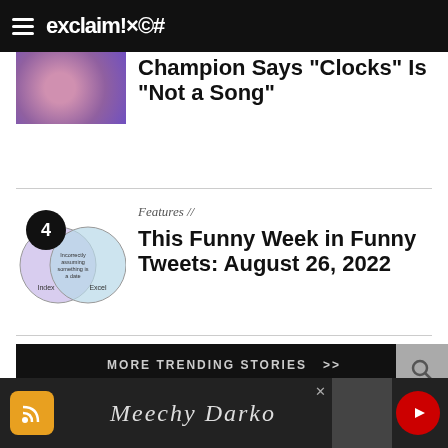exclaim!×©#
Champion Says "Clocks" Is "Not a Song"
[Figure (illustration): Partially visible thumbnail image with purple and pink tones at top left of first article card]
[Figure (illustration): Venn diagram with number 4 badge: left circle labeled 'Index', right circle labeled 'Excel', overlap labeled 'Incorrectly assuming something is a date']
Features //
This Funny Week in Funny Tweets: August 26, 2022
MORE TRENDING STORIES  >>
FOLLOW/CONTACT/SHARE
[Figure (advertisement): Ad banner for Meechy Darko with RSS icon, artist name in script font, close button, person photo, and YouTube icon]